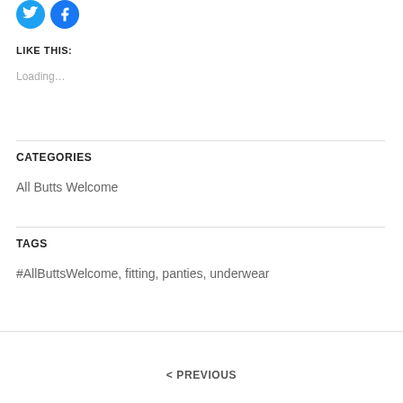[Figure (illustration): Two social sharing icon buttons: Twitter (blue bird icon circle) and Facebook (blue circle with share/link icon)]
LIKE THIS:
Loading…
CATEGORIES
All Butts Welcome
TAGS
#AllButtsWelcome, fitting, panties, underwear
< PREVIOUS